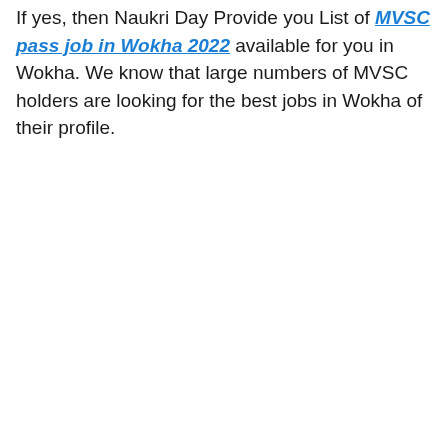If yes, then Naukri Day Provide you List of MVSC pass job in Wokha 2022 available for you in Wokha. We know that large numbers of MVSC holders are looking for the best jobs in Wokha of their profile.